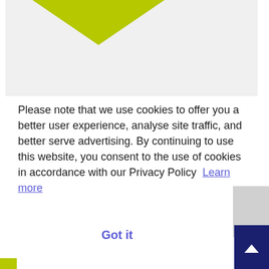[Figure (illustration): Partial screenshot of a website showing a light grey image area with a yellow-green triangular shape at the top]
Please note that we use cookies to offer you a better user experience, analyse site traffic, and better serve advertising. By continuing to use this website, you consent to the use of cookies in accordance with our Privacy Policy  Learn more
Got it